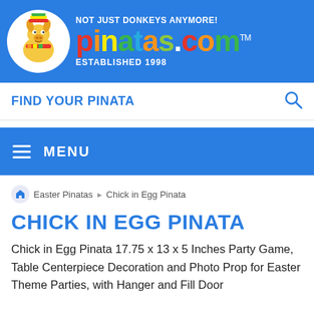[Figure (logo): Pinatas.com logo with colorful brand name text, donkey mascot in circle, tagline 'NOT JUST DONKEYS ANYMORE!' and 'ESTABLISHED 1998']
FIND YOUR PINATA
MENU
Easter Pinatas   Chick in Egg Pinata
CHICK IN EGG PINATA
Chick in Egg Pinata 17.75 x 13 x 5 Inches Party Game, Table Centerpiece Decoration and Photo Prop for Easter Theme Parties, with Hanger and Fill Door